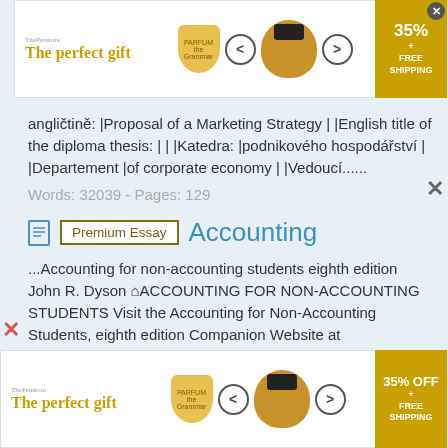[Figure (infographic): Top advertisement banner: 'The perfect gift' with cup/bowl image, navigation arrows, 35% OFF + FREE SHIPPING badge]
angličtině: |Proposal of a Marketing Strategy | |English title of the diploma thesis: | | |Katedra: |podnikového hospodářství | |Departement |of corporate economy | |Vedoucí......
Words: 32039 - Pages: 129
Premium Essay   Accounting
...Accounting for non-accounting students eighth edition John R. Dyson ⌂ACCOUNTING FOR NON-ACCOUNTING STUDENTS Visit the Accounting for Non-Accounting Students, eighth edition Companion Website at www.pearsoned.co.uk/dyson to find valuable student learning material including: G G G G Multiple choice questions to help test your learning
[Figure (infographic): Bottom advertisement banner: 'The perfect gift' with cup/bowl image, navigation arrows, 35% OFF + FREE SHIPPING badge]